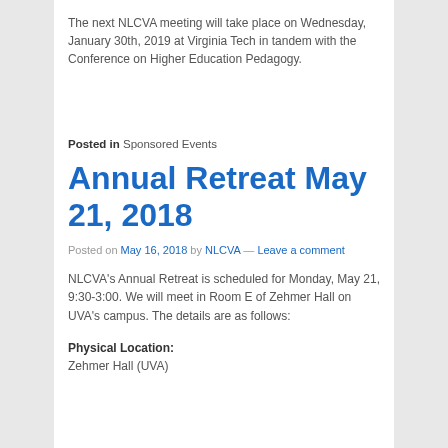The next NLCVA meeting will take place on Wednesday, January 30th, 2019 at Virginia Tech in tandem with the Conference on Higher Education Pedagogy.
Posted in Sponsored Events
Annual Retreat May 21, 2018
Posted on May 16, 2018 by NLCVA — Leave a comment
NLCVA's Annual Retreat is scheduled for Monday, May 21, 9:30-3:00. We will meet in Room E of Zehmer Hall on UVA's campus. The details are as follows:
Physical Location:
Zehmer Hall (UVA)